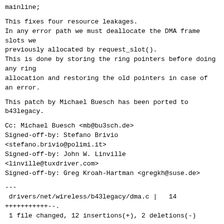mainline;
This fixes four resource leakages.
In any error path we must deallocate the DMA frame slots we
previously allocated by request_slot().
This is done by storing the ring pointers before doing any ring
allocation and restoring the old pointers in case of an error.
This patch by Michael Buesch has been ported to b43legacy.
Cc: Michael Buesch <mb@bu3sch.de>
Signed-off-by: Stefano Brivio
<stefano.brivio@polimi.it>
Signed-off-by: John W. Linville
<linville@tuxdriver.com>
Signed-off-by: Greg Kroah-Hartman <gregkh@suse.de>
---
 drivers/net/wireless/b43legacy/dma.c |   14
+++++++++++--..
 1 file changed, 12 insertions(+), 2 deletions(-)
--- a/drivers/net/wireless/b43legacy/dma.c
+++ b/drivers/net/wireless/b43legacy/dma.c
@@ -1164,7 +1164,7 @@ static int dma_tx_fragment(struct b43leg
[